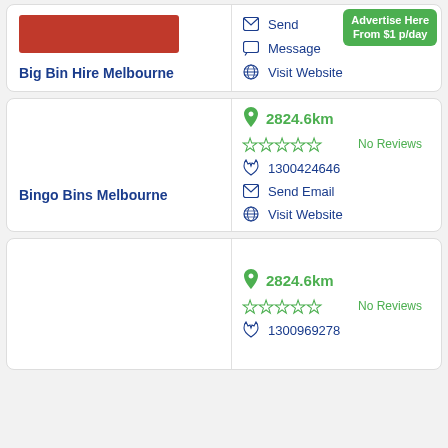Big Bin Hire Melbourne
Send Email
Message
Visit Website
Advertise Here From $1 p/day
Bingo Bins Melbourne
2824.6km
No Reviews
1300424646
Send Email
Visit Website
2824.6km
No Reviews
1300969278